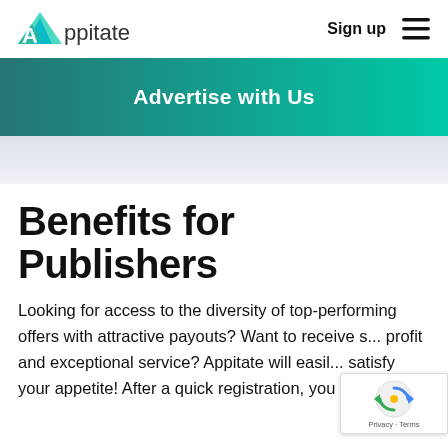[Figure (logo): Appitate logo with teal geometric triangle and 'Appitate' text]
Sign up
[Figure (other): Hamburger menu icon (three horizontal lines)]
Advertise with Us
Benefits for Publishers
Looking for access to the diversity of top-performing offers with attractive payouts? Want to receive s... profit and exceptional service? Appitate will easil... satisfy your appetite! After a quick registration, you will